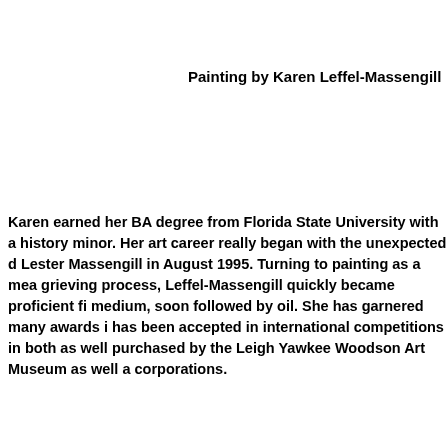Painting by Karen Leffel-Massengill
Karen earned her BA degree from Florida State University with a history minor. Her art career really began with the unexpected death of Lester Massengill in August 1995. Turning to painting as a means of the grieving process, Leffel-Massengill quickly became proficient first in medium, soon followed by oil. She has garnered many awards in and has been accepted in international competitions in both as well. Work purchased by the Leigh Yawkee Woodson Art Museum as well as corporations.